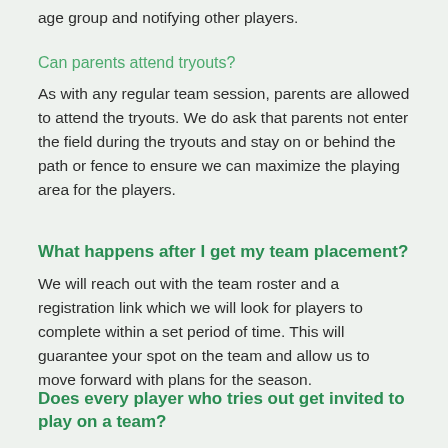age group and notifying other players.
Can parents attend tryouts?
As with any regular team session, parents are allowed to attend the tryouts. We do ask that parents not enter the field during the tryouts and stay on or behind the path or fence to ensure we can maximize the playing area for the players.
What happens after I get my team placement?
We will reach out with the team roster and a registration link which we will look for players to complete within a set period of time. This will guarantee your spot on the team and allow us to move forward with plans for the season.
Does every player who tries out get invited to play on a team?
We try to have a spot in our club for every player who wishes to join but based on numbers or our